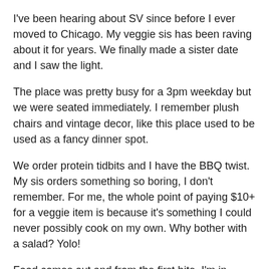I've been hearing about SV since before I ever moved to Chicago. My veggie sis has been raving about it for years. We finally made a sister date and I saw the light.
The place was pretty busy for a 3pm weekday but we were seated immediately. I remember plush chairs and vintage decor, like this place used to be used as a fancy dinner spot.
We order protein tidbits and I have the BBQ twist. My sis orders something so boring, I don't remember. For me, the whole point of paying $10+ for a veggie item is because it's something I could never possibly cook on my own. Why bother with a salad? Yolo!
Food comes out and from the first bite, I'm in heaven. I have to seriously ask the waitress if she didn't mess up the order and slip some meat in this. She laughs and says nope. The BBQ twist was unlike anything I've ever had before. The chik'n isn't rubbery or jerky-tough. It's perfect. Sauces are